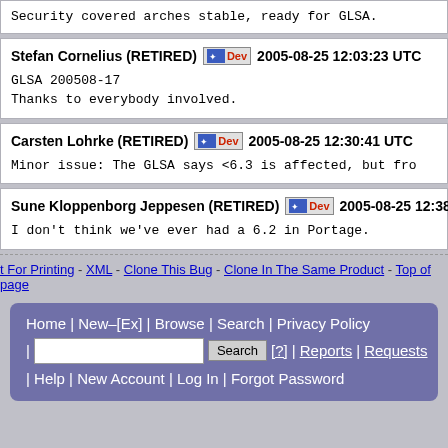Security covered arches stable, ready for GLSA.
Stefan Cornelius (RETIRED)   2005-08-25 12:03:23 UTC
GLSA 200508-17
Thanks to everybody involved.
Carsten Lohrke (RETIRED)   2005-08-25 12:30:41 UTC
Minor issue: The GLSA says <6.3 is affected, but fro
Sune Kloppenborg Jeppesen (RETIRED)   2005-08-25 12:38:4
I don't think we've ever had a 6.2 in Portage.
t For Printing - XML - Clone This Bug - Clone In The Same Product - Top of page
Home | New–[Ex] | Browse | Search | Privacy Policy | [?] | Reports | Requests | Help | New Account | Log In | Forgot Password